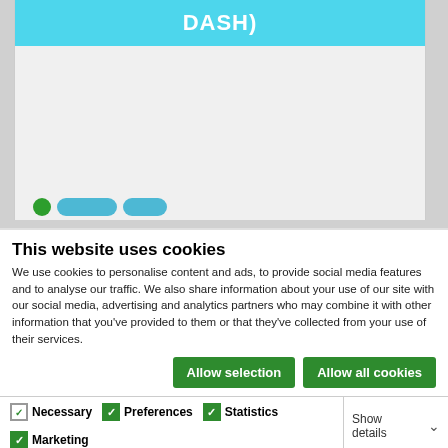[Figure (screenshot): Screenshot of a website with a cyan/turquoise header bar containing the text 'DASH)' in white bold text, with a light gray content area below and partial navigation elements visible at the bottom.]
This website uses cookies
We use cookies to personalise content and ads, to provide social media features and to analyse our traffic. We also share information about your use of our site with our social media, advertising and analytics partners who may combine it with other information that you've provided to them or that they've collected from your use of their services.
Allow selection   Allow all cookies
Necessary   Preferences   Statistics   Marketing   Show details